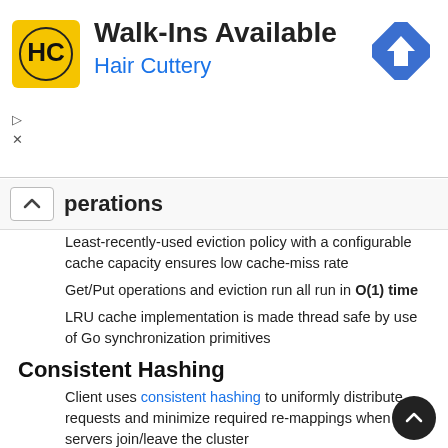[Figure (other): Hair Cuttery advertisement banner with logo, 'Walk-Ins Available' text, blue subtitle 'Hair Cuttery', and a road sign icon]
perations
Least-recently-used eviction policy with a configurable cache capacity ensures low cache-miss rate
Get/Put operations and eviction run all run in O(1) time
LRU cache implementation is made thread safe by use of Go synchronization primitives
Consistent Hashing
Client uses consistent hashing to uniformly distribute requests and minimize required re-mappings when servers join/leave the cluster